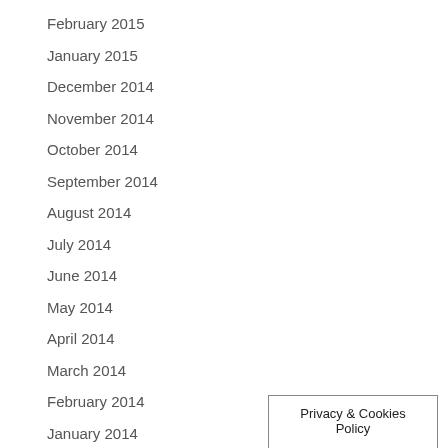February 2015
January 2015
December 2014
November 2014
October 2014
September 2014
August 2014
July 2014
June 2014
May 2014
April 2014
March 2014
February 2014
January 2014
December 2013
Privacy & Cookies Policy